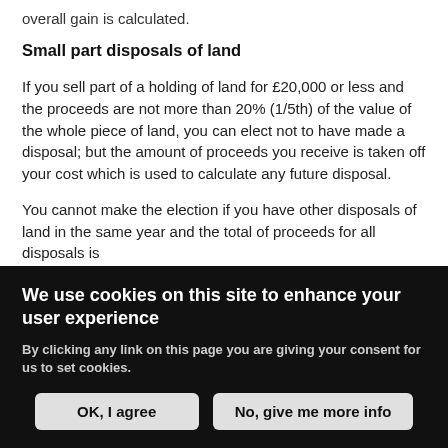overall gain is calculated.
Small part disposals of land
If you sell part of a holding of land for £20,000 or less and the proceeds are not more than 20% (1/5th) of the value of the whole piece of land, you can elect not to have made a disposal; but the amount of proceeds you receive is taken off your cost which is used to calculate any future disposal.
You cannot make the election if you have other disposals of land in the same year and the total of proceeds for all disposals is
We use cookies on this site to enhance your user experience
By clicking any link on this page you are giving your consent for us to set cookies.
OK, I agree
No, give me more info